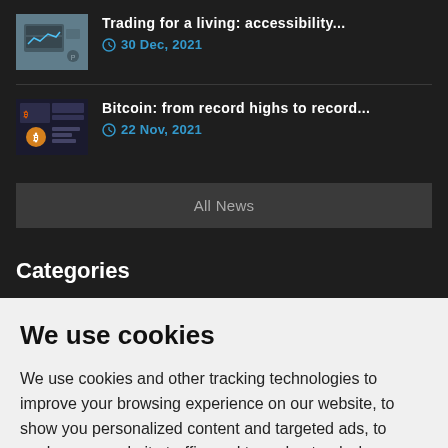[Figure (photo): Thumbnail image for trading article, person at computer]
Trading for a living: accessibility...
30 Dec, 2021
[Figure (photo): Thumbnail image for Bitcoin article, Bitcoin coin graphic]
Bitcoin: from record highs to record...
22 Nov, 2021
All News
Categories
We use cookies
We use cookies and other tracking technologies to improve your browsing experience on our website, to show you personalized content and targeted ads, to analyze our website traffic, and to understand where our visitors are coming from.